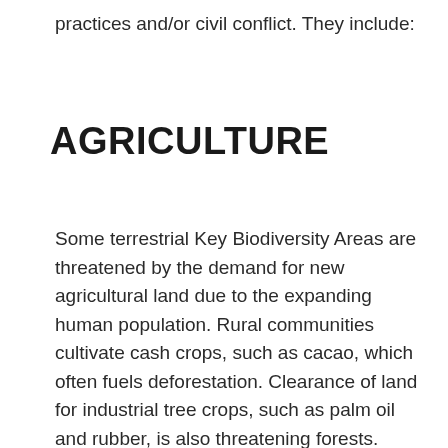practices and/or civil conflict. They include:
AGRICULTURE
Some terrestrial Key Biodiversity Areas are threatened by the demand for new agricultural land due to the expanding human population. Rural communities cultivate cash crops, such as cacao, which often fuels deforestation. Clearance of land for industrial tree crops, such as palm oil and rubber, is also threatening forests.